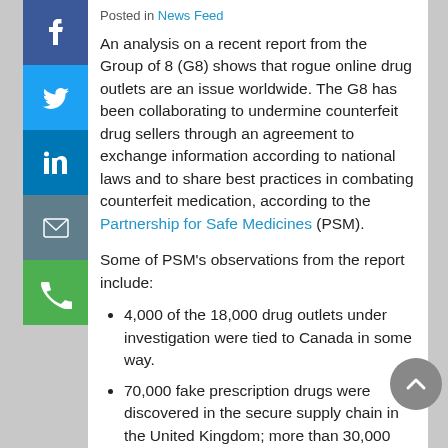Posted in News Feed
An analysis on a recent report from the Group of 8 (G8) shows that rogue online drug outlets are an issue worldwide. The G8 has been collaborating to undermine counterfeit drug sellers through an agreement to exchange information according to national laws and to share best practices in combating counterfeit medication, according to the Partnership for Safe Medicines (PSM).
Some of PSM's observations from the report include:
4,000 of the 18,000 drug outlets under investigation were tied to Canada in some way.
70,000 fake prescription drugs were discovered in the secure supply chain in the United Kingdom; more than 30,000 doses remain unaccounted for and possibly sold online.
France confiscated 1.2 million doses of fake aspirin hidden in tea in 2012.
Germany found over 100 drug outlets offering illegally imported counterfeit cancer drugs for...